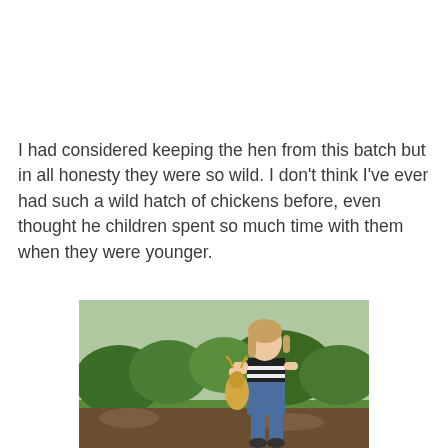I had considered keeping the hen from this batch but in all honesty they were so wild. I don't think I've ever had such a wild hatch of chickens before, even thought he children spent so much time with them when they were younger.
[Figure (photo): A young girl with blonde hair in a striped shirt and denim overalls stands outdoors in a green garden/farm setting, holding a chicken upside down by its feet.]